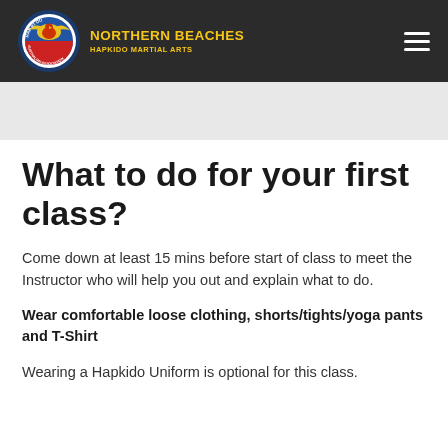NORTHERN BEACHES HAPKIDO MARTIAL ARTS
What to do for your first class?
Come down at least 15 mins before start of class to meet the Instructor who will help you out and explain what to do.
Wear comfortable loose clothing, shorts/tights/yoga pants and T-Shirt
Wearing a Hapkido Uniform is optional for this class.